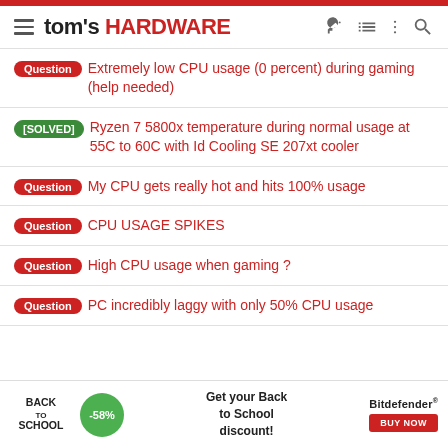tom's HARDWARE
Question — Extremely low CPU usage (0 percent) during gaming (help needed)
[SOLVED] Ryzen 7 5800x temperature during normal usage at 55C to 60C with Id Cooling SE 207xt cooler
Question — My CPU gets really hot and hits 100% usage
Question — CPU USAGE SPIKES
Question — High CPU usage when gaming ?
Question — PC incredibly laggy with only 50% CPU usage
[Figure (infographic): Advertisement banner: Back to School discount -58% from Bitdefender with BUY NOW button]